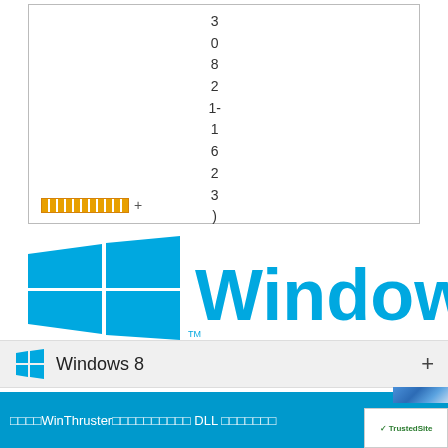3 0 8 2 1- 1 6 2 3 )
██████████ +
[Figure (logo): Windows 8 logo with four-pane cyan/blue window icon and 'Windows 8' text in large cyan font]
Windows 8  +
□□□□WinThruster□□□□□□□□□□ DLL □□□□□□□
[Figure (logo): TrustedSite badge with green checkmark]